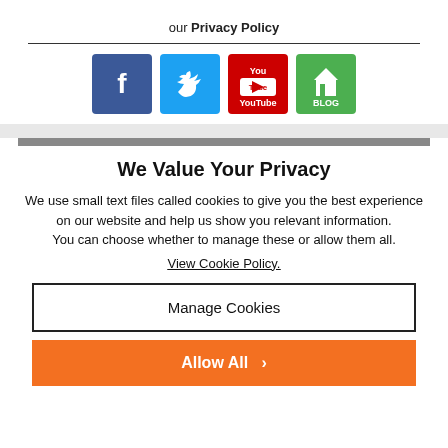our Privacy Policy
[Figure (illustration): Social media icons: Facebook (blue), Twitter (light blue), YouTube (red), Blog (green)]
We Value Your Privacy
We use small text files called cookies to give you the best experience on our website and help us show you relevant information. You can choose whether to manage these or allow them all.
View Cookie Policy.
Manage Cookies
Allow All >